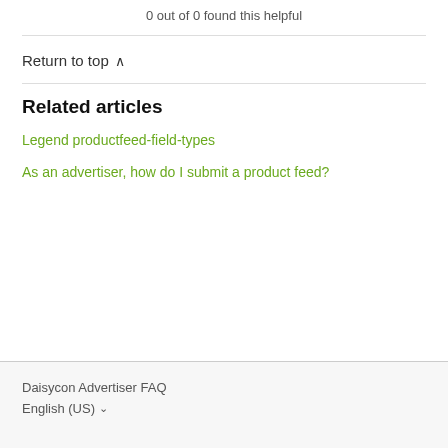0 out of 0 found this helpful
Return to top ∧
Related articles
Legend productfeed-field-types
As an advertiser, how do I submit a product feed?
Daisycon Advertiser FAQ
English (US) ∨